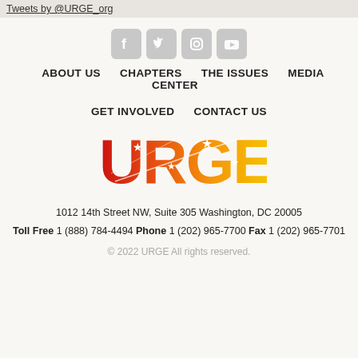Tweets by @URGE_org
[Figure (illustration): Four social media icons: Facebook, Twitter, Instagram, YouTube — rendered in light gray rounded square buttons]
ABOUT US   CHAPTERS   THE ISSUES   MEDIA CENTER   GET INVOLVED   CONTACT US
[Figure (logo): URGE logo in red-orange-yellow gradient with stars and swoosh lines]
1012 14th Street NW, Suite 305 Washington, DC 20005
Toll Free 1 (888) 784-4494  Phone 1 (202) 965-7700  Fax 1 (202) 965-7701
© 2022 URGE All rights reserved.